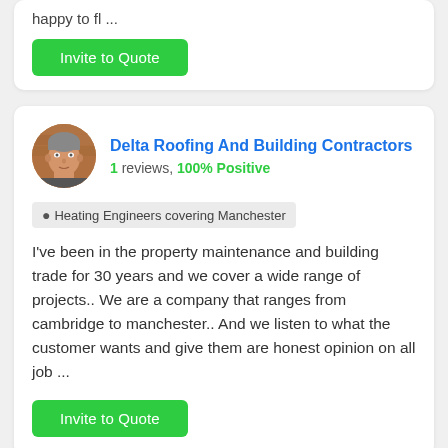happy to fl ...
Invite to Quote
Delta Roofing And Building Contractors
1 reviews, 100% Positive
Heating Engineers covering Manchester
I've been in the property maintenance and building trade for 30 years and we cover a wide range of projects.. We are a company that ranges from cambridge to manchester.. And we listen to what the customer wants and give them are honest opinion on all job ...
Invite to Quote